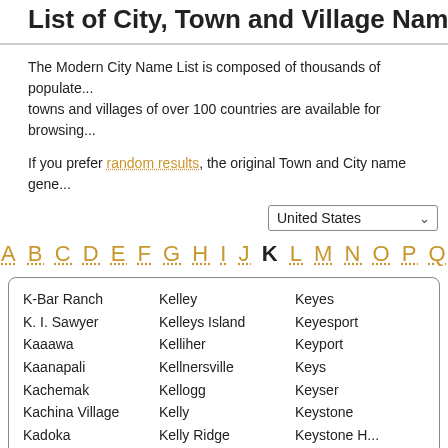List of City, Town and Village Names in the...
The Modern City Name List is composed of thousands of populated places. Cities, towns and villages of over 100 countries are available for browsing...
If you prefer random results, the original Town and City name gene...
K-Bar Ranch
K. I. Sawyer
Kaaawa
Kaanapali
Kachemak
Kachina Village
Kadoka
Kahaluu
Kahlotus
Kahoka
Kahuku
Kahului
Kaibab
Kaibito
Kelley
Kelleys Island
Kelliher
Kellnersville
Kellogg
Kelly
Kelly Ridge
Kellyton
Kellyville
Kelseyville
Kelso
Kemah
Kemmerer
Kemp
Keyes
Keyesport
Keyport
Keys
Keyser
Keystone
Keystone H...
Keysville
Keytesville
Kiana
Kiawah Isla...
Kibler
Kickapoo
Kickapoo T...